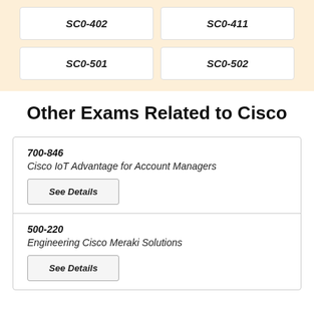| SC0-402 | SC0-411 |
| SC0-501 | SC0-502 |
Other Exams Related to Cisco
700-846
Cisco IoT Advantage for Account Managers
See Details
500-220
Engineering Cisco Meraki Solutions
See Details